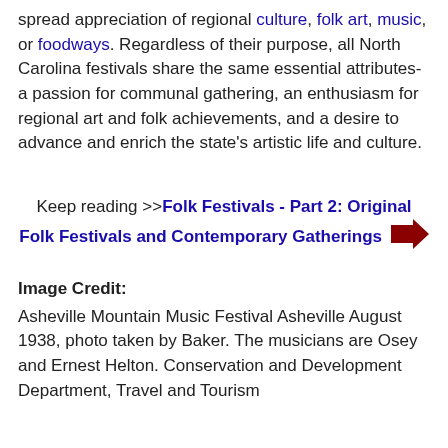spread appreciation of regional culture, folk art, music, or foodways. Regardless of their purpose, all North Carolina festivals share the same essential attributes-a passion for communal gathering, an enthusiasm for regional art and folk achievements, and a desire to advance and enrich the state's artistic life and culture.
Keep reading >>Folk Festivals - Part 2: Original Folk Festivals and Contemporary Gatherings →
Image Credit:
Asheville Mountain Music Festival Asheville August 1938, photo taken by Baker. The musicians are Osey and Ernest Helton. Conservation and Development Department, Travel and Tourism